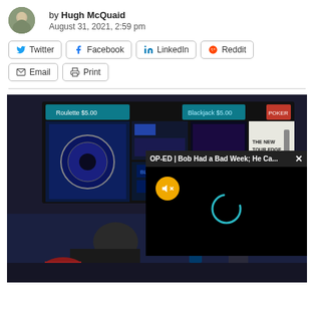by Hugh McQuaid
August 31, 2021, 2:59 pm
[Figure (infographic): Social share buttons: Twitter, Facebook, LinkedIn, Reddit, Email, Print]
[Figure (photo): Casino interior with large display screens showing various games including roulette, and a video overlay popup titled 'OP-ED | Bob Had a Bad Week; He Ca...' with a loading spinner and mute button]